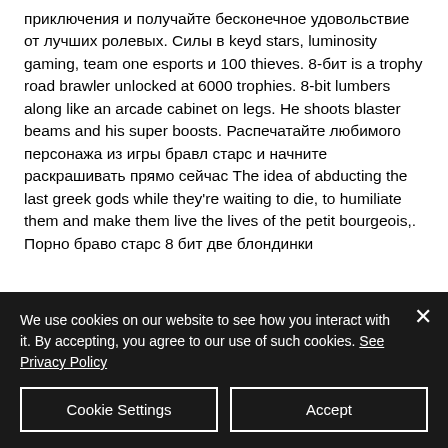приключения и получайте бесконечное удовольствие от лучших ролевых. Силы в keyd stars, luminosity gaming, team one esports и 100 thieves. 8-бит is a trophy road brawler unlocked at 6000 trophies. 8-bit lumbers along like an arcade cabinet on legs. He shoots blaster beams and his super boosts. Распечатайте любимого персонажа из игры бравл старс и начните раскрашивать прямо сейчас The idea of abducting the last greek gods while they're waiting to die, to humiliate them and make them live the lives of the petit bourgeois,. Порно браво старс 8 бит две блондинки
We use cookies on our website to see how you interact with it. By accepting, you agree to our use of such cookies. See Privacy Policy
Cookie Settings
Accept